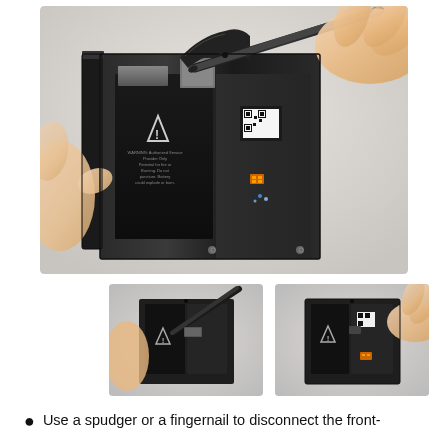[Figure (photo): Close-up photo of hands using a spudger tool to work on the internal components of an iPhone, showing the battery, logic board, and flex cables with the screen partially lifted open.]
[Figure (photo): Thumbnail photo showing a spudger being used to disconnect a connector on an iPhone's internal components.]
[Figure (photo): Thumbnail photo showing fingers working on disconnecting a component from an iPhone's internal assembly.]
Use a spudger or a fingernail to disconnect the front-